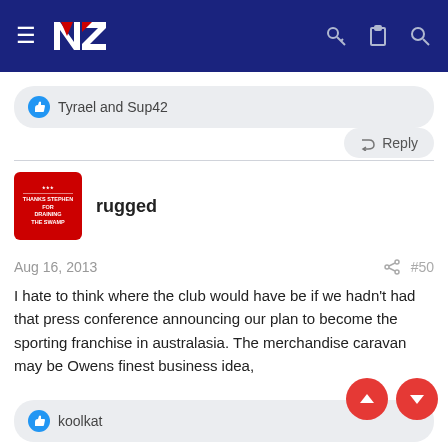NZ Rugby League forum header with logo and navigation icons
Tyrael and Sup42
Reply
rugged
Aug 16, 2013
#50
I hate to think where the club would have be if we hadn't had that press conference announcing our plan to become the sporting franchise in australasia. The merchandise caravan may be Owens finest business idea,
koolkat